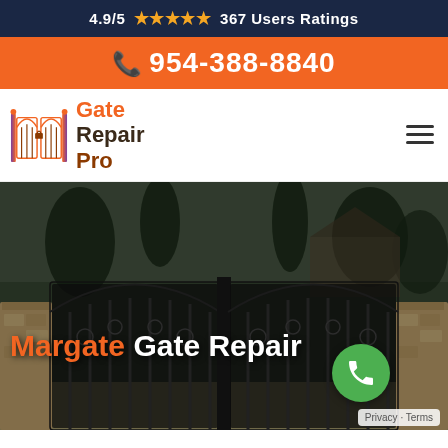4.9/5 ★★★★★ 367 Users Ratings
954-388-8840
[Figure (logo): Gate Repair Pro logo with illustrated gate icon and company name]
[Figure (photo): Hero image of ornamental iron double gate with stone pillars and landscaping, overlaid with text 'Margate Gate Repair' and a green phone call button]
Privacy · Terms